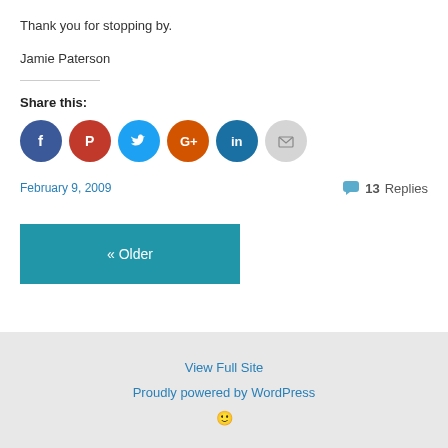Thank you for stopping by.
Jamie Paterson
Share this:
[Figure (other): Social sharing icons: Facebook (dark blue), Pinterest (red), Twitter (light blue), Google+ (orange-red), LinkedIn (dark blue), Email (gray)]
February 9, 2009
13 Replies
« Older
View Full Site
Proudly powered by WordPress